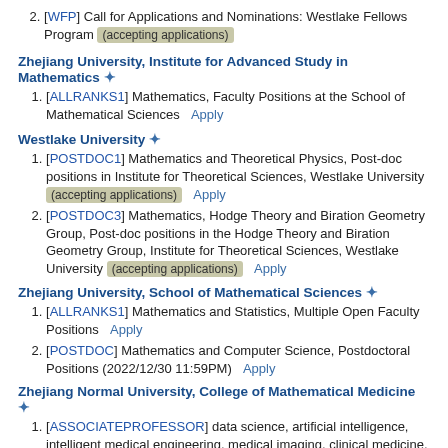2. [WFP] Call for Applications and Nominations: Westlake Fellows Program (accepting applications)
Zhejiang University, Institute for Advanced Study in Mathematics ✦
1. [ALLRANKS1] Mathematics, Faculty Positions at the School of Mathematical Sciences  Apply
Westlake University ✦
1. [POSTDOC1] Mathematics and Theoretical Physics, Post-doc positions in Institute for Theoretical Sciences, Westlake University (accepting applications)  Apply
2. [POSTDOC3] Mathematics, Hodge Theory and Biration Geometry Group, Post-doc positions in the Hodge Theory and Biration Geometry Group, Institute for Theoretical Sciences, Westlake University (accepting applications)  Apply
Zhejiang University, School of Mathematical Sciences ✦
1. [ALLRANKS1] Mathematics and Statistics, Multiple Open Faculty Positions  Apply
2. [POSTDOC] Mathematics and Computer Science, Postdoctoral Positions (2022/12/30 11:59PM)  Apply
Zhejiang Normal University, College of Mathematical Medicine ✦
1. [ASSOCIATEPROFESSOR] data science, artificial intelligence, intelligent medical engineering, medical imaging, clinical medicine, etc., Associate Professor (2023/01/02 11:59PM)  Apply